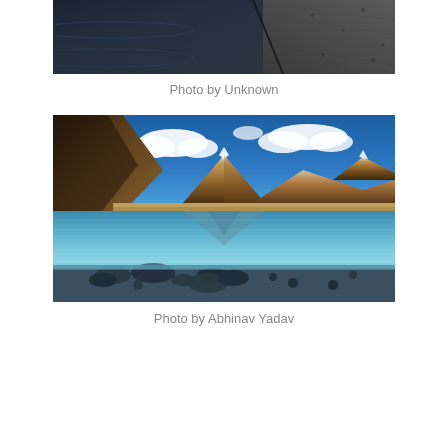[Figure (photo): Partial photo of a dark wet road or surface with gravel/asphalt texture, cropped at top of page]
Photo by Unknown
[Figure (photo): Landscape photograph of Pangong Lake in Ladakh, India, with brown mountains reflecting in clear blue water, blue sky with white clouds, and rocky shoreline in foreground. Photo by Abhinav Yadav.]
Photo by Abhinav Yadav